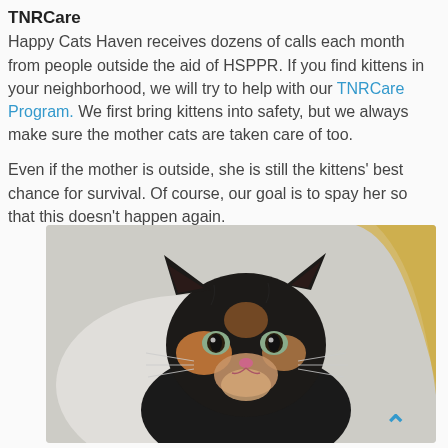TNRCare
Happy Cats Haven receives dozens of calls each month from people outside the aid of HSPPR. If you find kittens in your neighborhood, we will try to help with our TNRCare Program. We first bring kittens into safety, but we always make sure the mother cats are taken care of too.
Even if the mother is outside, she is still the kittens' best chance for survival. Of course, our goal is to spay her so that this doesn't happen again.
[Figure (photo): A calico kitten with dark fur, orange and cream markings, looking directly at the camera, resting on a light background with a yellow ribbon or strap visible in the background.]